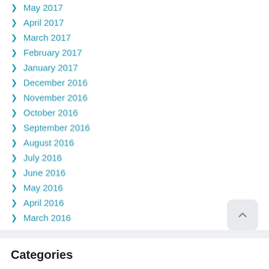May 2017
April 2017
March 2017
February 2017
January 2017
December 2016
November 2016
October 2016
September 2016
August 2016
July 2016
June 2016
May 2016
April 2016
March 2016
Categories
About Finance
About Technology
Auto Buy And Sell